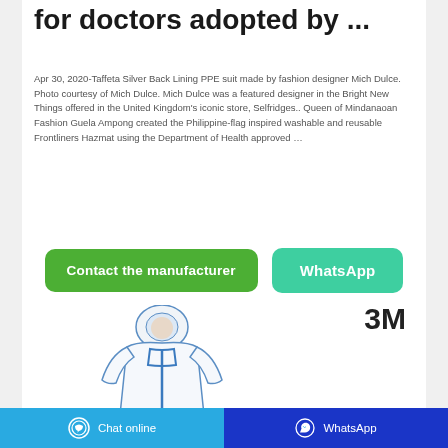for doctors adopted by ...
Apr 30, 2020-Taffeta Silver Back Lining PPE suit made by fashion designer Mich Dulce. Photo courtesy of Mich Dulce. Mich Dulce was a featured designer in the Bright New Things offered in the United Kingdom's iconic store, Selfridges.. Queen of Mindanaoan Fashion Guela Ampong created the Philippine-flag inspired washable and reusable Frontliners Hazmat using the Department of Health approved …
[Figure (other): Green 'Contact the manufacturer' button and teal 'WhatsApp' button]
3M
[Figure (photo): White PPE hazmat suit with blue trim and hood, full-body coverall]
Chat online | WhatsApp